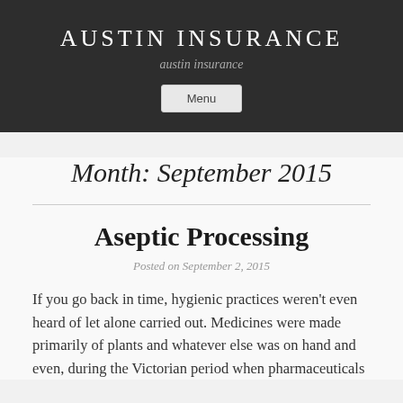AUSTIN INSURANCE
austin insurance
Menu
Month: September 2015
Aseptic Processing
Posted on September 2, 2015
If you go back in time, hygienic practices weren't even heard of let alone carried out. Medicines were made primarily of plants and whatever else was on hand and even, during the Victorian period when pharmaceuticals